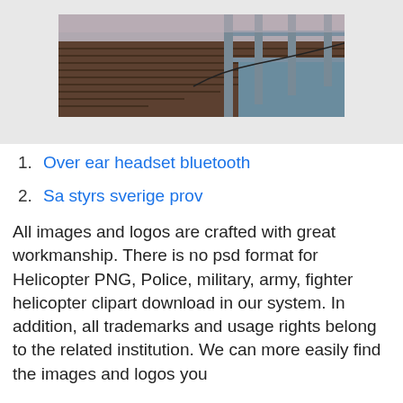[Figure (photo): Photo of a wooden dock/pier with metal railings and posts, ocean/water in background, photographed at dusk or dawn with muted tones.]
Over ear headset bluetooth
Sa styrs sverige prov
All images and logos are crafted with great workmanship. There is no psd format for Helicopter PNG, Police, military, army, fighter helicopter clipart download in our system. In addition, all trademarks and usage rights belong to the related institution. We can more easily find the images and logos you